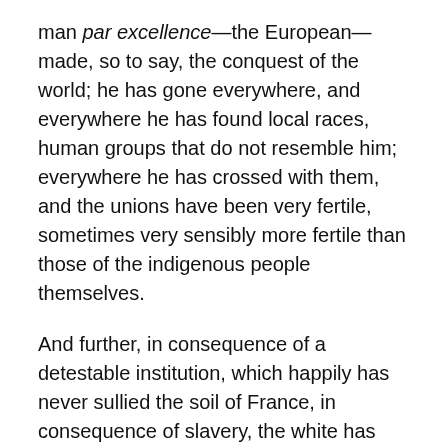man par excellence—the European—made, so to say, the conquest of the world; he has gone everywhere, and everywhere he has found local races, human groups that do not resemble him; everywhere he has crossed with them, and the unions have been very fertile, sometimes very sensibly more fertile than those of the indigenous people themselves.
And further, in consequence of a detestable institution, which happily has never sullied the soil of France, in consequence of slavery, the white has taken the negro everywhere, everywhere he has crossed with his slaves, and everywhere a mulatto population has been formed. Everywhere, also, the negro has crossed with the local groups, and everywhere there have sprung up intermediate races, which, by their characters, proclaim this double origin. The white, finally, has crossed with those mixed breeds, and hence has resulted in certain